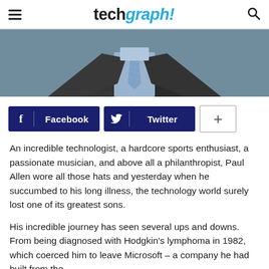techgraph!
[Figure (photo): Man in dark suit with light blue shirt and patterned blue tie, torso visible, gray background]
[Figure (infographic): Social sharing buttons: Facebook (dark blue), Twitter (dark blue), and a plus (+) button]
An incredible technologist, a hardcore sports enthusiast, a passionate musician, and above all a philanthropist, Paul Allen wore all those hats and yesterday when he succumbed to his long illness, the technology world surely lost one of its greatest sons.
His incredible journey has seen several ups and downs. From being diagnosed with Hodgkin's lymphoma in 1982, which coerced him to leave Microsoft – a company he had built from the